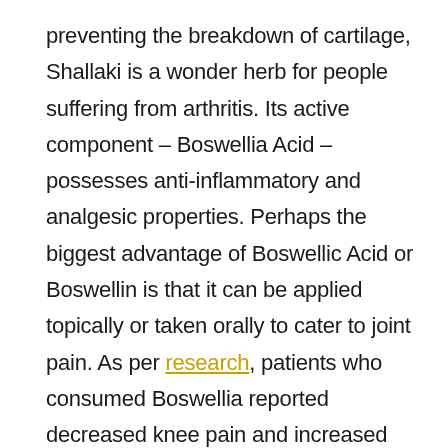preventing the breakdown of cartilage, Shallaki is a wonder herb for people suffering from arthritis. Its active component – Boswellia Acid – possesses anti-inflammatory and analgesic properties. Perhaps the biggest advantage of Boswellic Acid or Boswellin is that it can be applied topically or taken orally to cater to joint pain. As per research, patients who consumed Boswellia reported decreased knee pain and increased knee flexibility and walking distance. They also reported less frequent swelling of the knee joint.